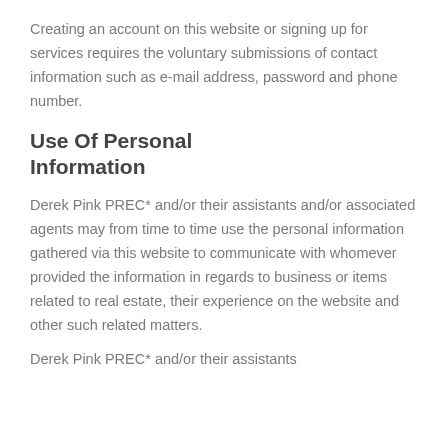Creating an account on this website or signing up for services requires the voluntary submissions of contact information such as e-mail address, password and phone number.
Use Of Personal Information
Derek Pink PREC* and/or their assistants and/or associated agents may from time to time use the personal information gathered via this website to communicate with whomever provided the information in regards to business or items related to real estate, their experience on the website and other such related matters.
Derek Pink PREC* and/or their assistants